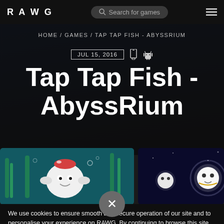RAWG | Search for games
HOME / GAMES / TAP TAP FISH - ABYSSRIUM
JUL 15, 2016
Tap Tap Fish - AbyssRium
[Figure (screenshot): Screenshot of Tap Tap Fish - AbyssRium gameplay showing underwater scene with cartoon fish characters]
[Figure (screenshot): Second screenshot of Tap Tap Fish - AbyssRium showing glowing underwater characters]
We use cookies to ensure smooth and secure operation of our site and to personalise your experience on RAWG. By continuing to browse this site you agree to our use of cookies. More details in Cookies Policy.